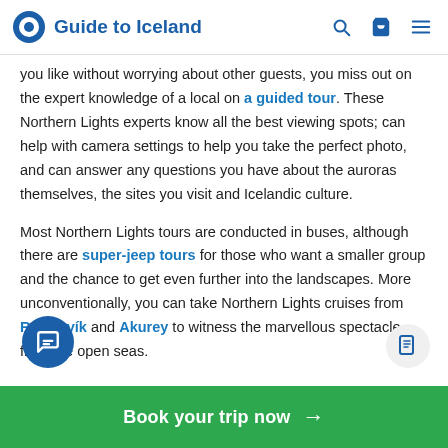Guide to Iceland
you like without worrying about other guests, you miss out on the expert knowledge of a local on a guided tour. These Northern Lights experts know all the best viewing spots; can help with camera settings to help you take the perfect photo, and can answer any questions you have about the auroras themselves, the sites you visit and Icelandic culture.
Most Northern Lights tours are conducted in buses, although there are super-jeep tours for those who want a smaller group and the chance to get even further into the landscapes. More unconventionally, you can take Northern Lights cruises from Reykjavík and Akureyri to witness the marvellous spectacle from the open seas.
Book your trip now →